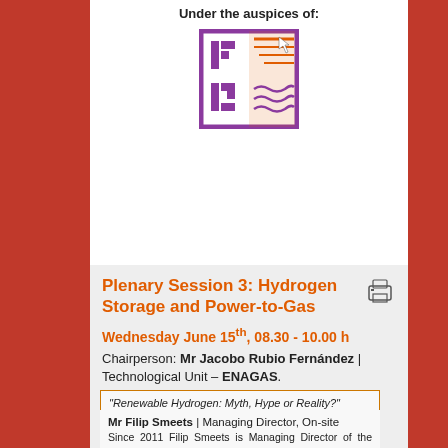Under the auspices of:
[Figure (logo): IA HE organization logo — purple square border with stylized letters and wave pattern]
Plenary Session 3: Hydrogen Storage and Power-to-Gas
Wednesday June 15th, 08.30 - 10.00 h
Chairperson: Mr Jacobo Rubio Fernández | Technological Unit – ENAGAS.
"Renewable Hydrogen: Myth, Hype or Reality?"
Mr Filip Smeets | Managing Director, On-site Generation - Hydrogenics
Since 2011 Filip Smeets is Managing Director of the Hydrogenics' Belgian based On-Site